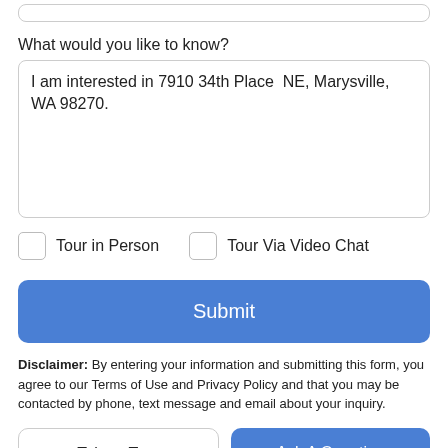What would you like to know?
I am interested in 7910 34th Place  NE, Marysville, WA 98270.
Tour in Person
Tour Via Video Chat
Submit
Disclaimer: By entering your information and submitting this form, you agree to our Terms of Use and Privacy Policy and that you may be contacted by phone, text message and email about your inquiry.
Take a Tour
Ask A Question